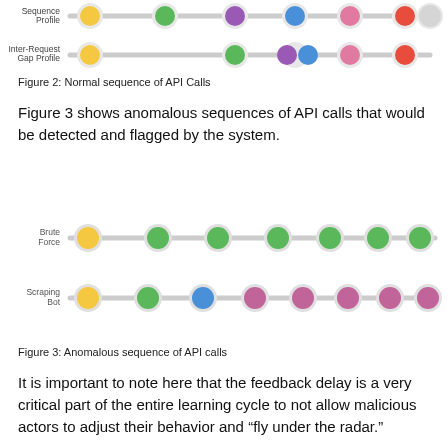[Figure (infographic): Partial view of Figure 2 showing normal API call sequence profiles: a row labeled 'Sequence Profile' with colored dots (yellow, green, purple, blue, pink, red, gray) connected by a gray line, and a row labeled 'Inter-Request Gap Profile' with fewer colored dots connected by a gray line.]
Figure 2: Normal sequence of API Calls
Figure 3 shows anomalous sequences of API calls that would be detected and flagged by the system.
[Figure (infographic): Figure 3 showing anomalous API call sequences: 'Brute Force' row with yellow dot followed by many green dots on a gray line; 'Scraping Bot' row with yellow, green, blue, pink, pink, pink, pink, pink dots on a gray line.]
Figure 3: Anomalous sequence of API calls
It is important to note here that the feedback delay is a very critical part of the entire learning cycle to not allow malicious actors to adjust their behavior and “fly under the radar.”